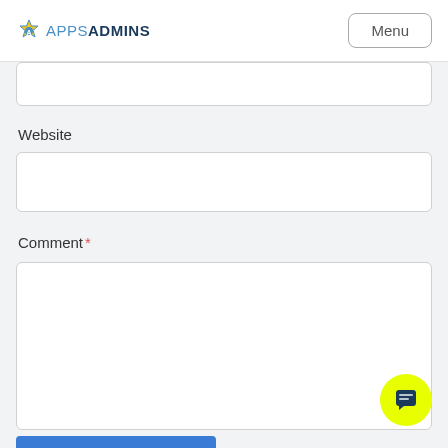APPSADMINS | Menu
Website
Comment *
[Figure (screenshot): Website input field (empty text input box)]
[Figure (screenshot): Comment required textarea (empty large text input)]
[Figure (screenshot): Yellow chat/support floating action button with speech bubble icon]
[Figure (screenshot): Partial blue submit button at bottom of page]